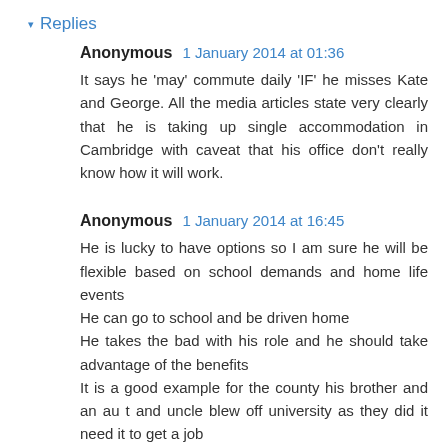▾ Replies
Anonymous 1 January 2014 at 01:36
It says he 'may' commute daily 'IF' he misses Kate and George. All the media articles state very clearly that he is taking up single accommodation in Cambridge with caveat that his office don't really know how it will work.
Anonymous 1 January 2014 at 16:45
He is lucky to have options so I am sure he will be flexible based on school demands and home life events
He can go to school and be driven home
He takes the bad with his role and he should take advantage of the benefits
It is a good example for the county his brother and an au t and uncle blew off university as they did it need it to get a job
His uncle Andrew is an example is someone